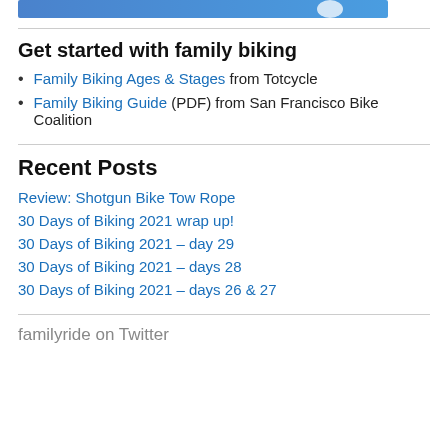[Figure (illustration): Blue banner/logo at top of page with white circular element]
Get started with family biking
Family Biking Ages & Stages from Totcycle
Family Biking Guide (PDF) from San Francisco Bike Coalition
Recent Posts
Review: Shotgun Bike Tow Rope
30 Days of Biking 2021 wrap up!
30 Days of Biking 2021 – day 29
30 Days of Biking 2021 – days 28
30 Days of Biking 2021 – days 26 & 27
familyride on Twitter